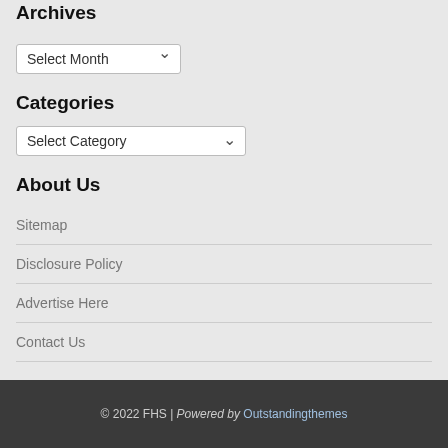Archives
Select Month
Categories
Select Category
About Us
Sitemap
Disclosure Policy
Advertise Here
Contact Us
© 2022 FHS | Powered by Outstandingthemes